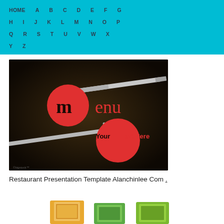HOME A B C D E F G H I J K L M N O P Q R S T U V W X Y Z
[Figure (illustration): Restaurant menu template image with dark brown background, fork and knife, two red circles with text 'menu' and 'Your Text Here']
Restaurant Presentation Template Alanchinlee Com .
[Figure (photo): Partial view of food/restaurant related images at the bottom of the page]